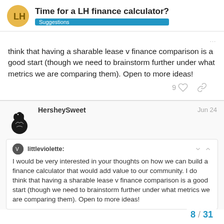Time for a LH finance calculator? Suggestions
think that having a sharable lease v finance comparison is a good start (though we need to brainstorm further under what metrics we are comparing them). Open to more ideas!
HersheySweet Jun 24
littleviolette: I would be very interested in your thoughts on how we can build a finance calculator that would add value to our community. I do think that having a sharable lease v finance comparison is a good start (though we need to brainstorm further under what metrics we are comparing them). Open to more ideas!
8 / 31